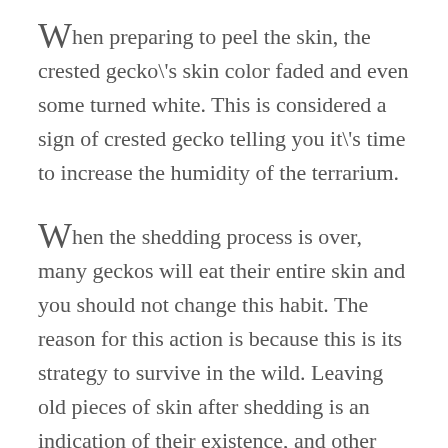When preparing to peel the skin, the crested gecko's skin color faded and even some turned white. This is considered a sign of crested gecko telling you it's time to increase the humidity of the terrarium.
When the shedding process is over, many geckos will eat their entire skin and you should not change this habit. The reason for this action is because this is its strategy to survive in the wild. Leaving old pieces of skin after shedding is an indication of their existence, and other predators will not miss this valuable opportunity.